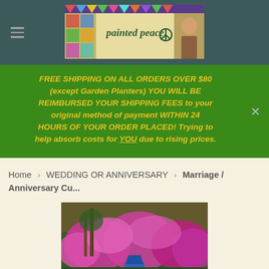painted peace - navigation header with hamburger menu and logo banner
FREE SHIPPING ON ALL ORDERS OVER $80 (except Garden Planters) YOU WILL BE REIMBURSED YOUR SHIPPING FEES to your original method of payment WITHIN 24 HOURS OF YOUR ORDER PLACED! Trying to help absorb costs for YOU due to rising prices.
Home › WEDDING OR ANNIVERSARY › Marriage / Anniversary Cu...
[Figure (photo): Outdoor garden scene with pink/purple flowering shrubs, trees, and a blue decorative garden planter or pot visible in the lower center]